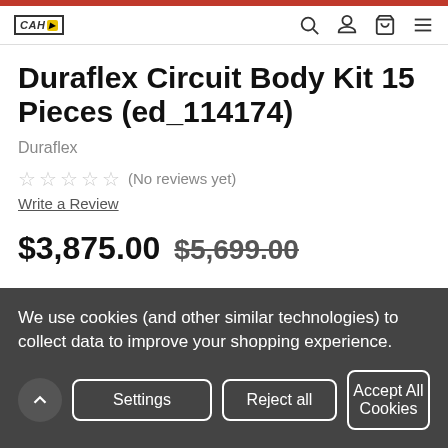CAH [logo]
Duraflex Circuit Body Kit 15 Pieces (ed_114174)
Duraflex
★★★★★ (No reviews yet)
Write a Review
$3,875.00 $5,699.00
We use cookies (and other similar technologies) to collect data to improve your shopping experience.
Settings  Reject all  Accept All Cookies